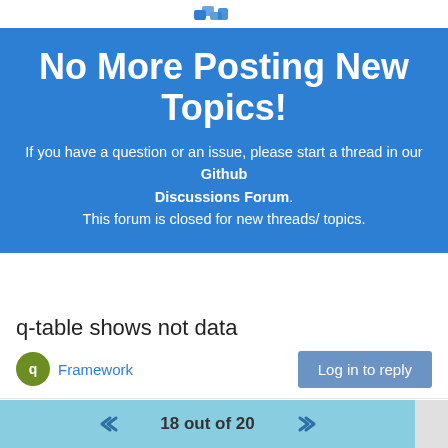No More Posting New Topics!
If you have a question or an issue, please start a thread in our Github Discussions Forum.
This forum is closed for new threads/ topics.
q-table shows not data
Framework
Log in to reply
PrasadChinwal    Jan 31, 2020, 3:07 PM
18 out of 20